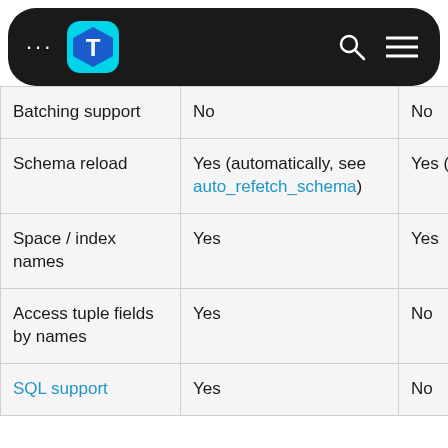[Figure (screenshot): Mobile app navigation bar with dark rounded background, T logo, search and menu icons]
| Batching support | No | No |
| Schema reload | Yes (automatically, see auto_refetch_schema) | Yes (aut… |
| Space / index names | Yes | Yes |
| Access tuple fields by names | Yes | No |
| SQL support | Yes | No |